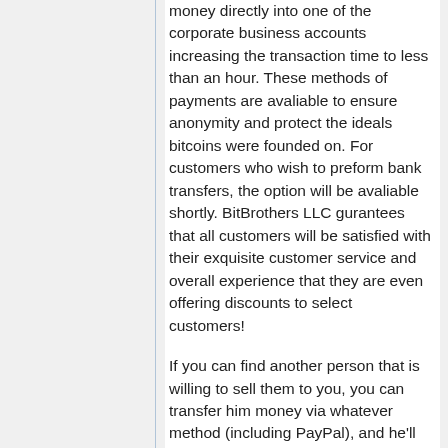money directly into one of the corporate business accounts increasing the transaction time to less than an hour. These methods of payments are avaliable to ensure anonymity and protect the ideals bitcoins were founded on. For customers who wish to preform bank transfers, the option will be avaliable shortly. BitBrothers LLC gurantees that all customers will be satisfied with their exquisite customer service and overall experience that they are even offering discounts to select customers!
If you can find another person that is willing to sell them to you, you can transfer him money via whatever method (including PayPal), and he'll send you the Bitcoins. The following websites can be used to find direct sellers online